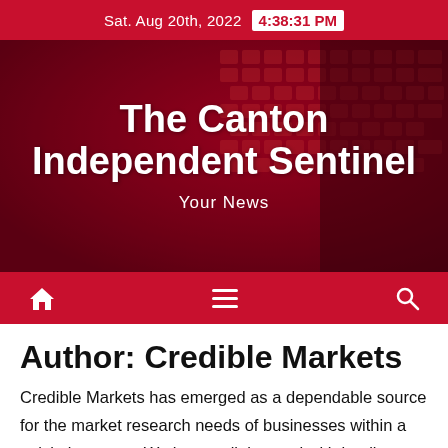Sat. Aug 20th, 2022   4:38:31 PM
The Canton Independent Sentinel
Your News
[Figure (screenshot): Red navigation bar with home icon, hamburger menu, and search icon]
Author: Credible Markets
Credible Markets has emerged as a dependable source for the market research needs of businesses within a quick time span. We have collaborated with leading publishers of market intelligence and the coverage of our reports